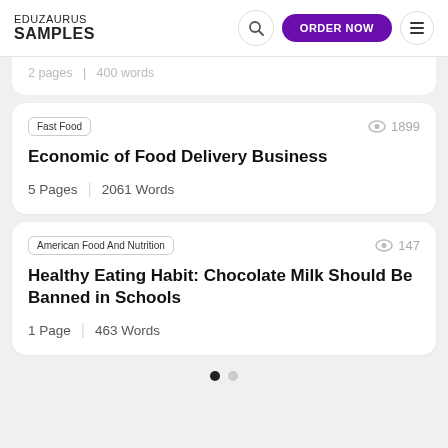EDUZAURUS SAMPLES
2 Pages  |  400 Words (partial/clipped)
Fast Food  |  1899 views
Economic of Food Delivery Business
5 Pages  |  2061 Words
American Food And Nutrition  |  147 views
Healthy Eating Habit: Chocolate Milk Should Be Banned in Schools
1 Page  |  463 Words